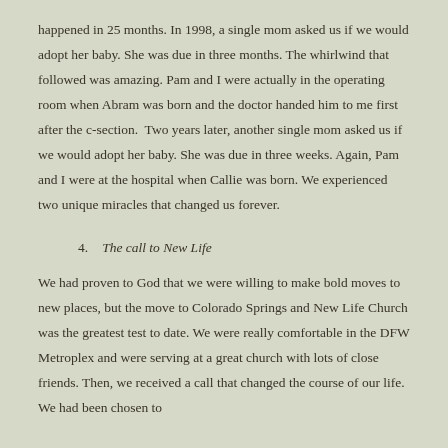happened in 25 months. In 1998, a single mom asked us if we would adopt her baby. She was due in three months. The whirlwind that followed was amazing. Pam and I were actually in the operating room when Abram was born and the doctor handed him to me first after the c-section.  Two years later, another single mom asked us if we would adopt her baby. She was due in three weeks. Again, Pam and I were at the hospital when Callie was born. We experienced two unique miracles that changed us forever.
4.    The call to New Life
We had proven to God that we were willing to make bold moves to new places, but the move to Colorado Springs and New Life Church was the greatest test to date. We were really comfortable in the DFW Metroplex and were serving at a great church with lots of close friends. Then, we received a call that changed the course of our life. We had been chosen to